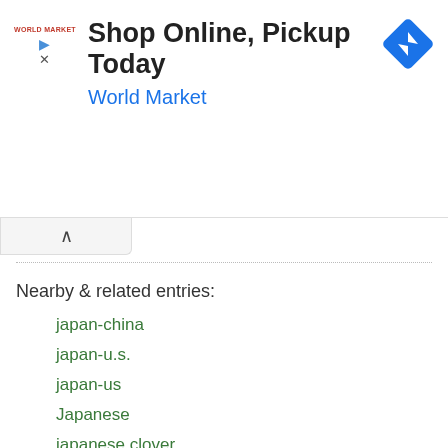[Figure (infographic): Advertisement banner: 'Shop Online, Pickup Today' for World Market, with World Market logo text in red, a play triangle icon and X icon on the left, a blue navigation/direction diamond icon on the right.]
Nearby & related entries:
japan-china
japan-u.s.
japan-us
Japanese
japanese clover
Japanese yew